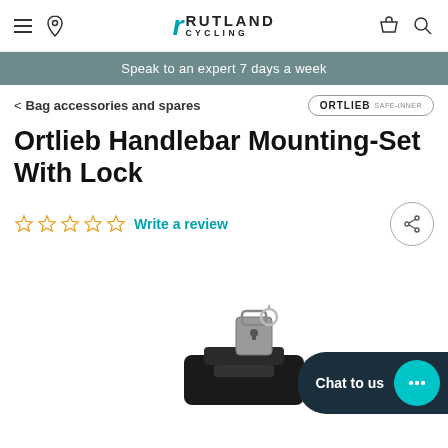Rutland Cycling
Speak to an expert 7 days a week
< Bag accessories and spares
Ortlieb Handlebar Mounting-Set With Lock
Write a review
[Figure (photo): Ortlieb handlebar mounting set with lock product photo showing black mounting bracket with silver lock mechanism]